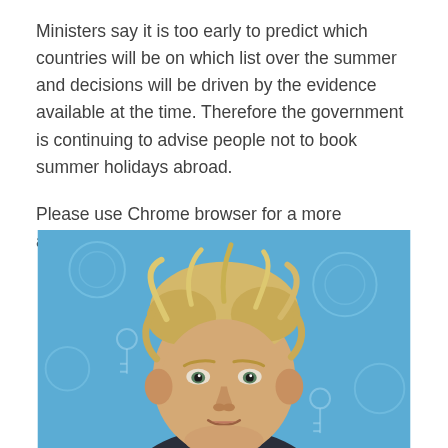Ministers say it is too early to predict which countries will be on which list over the summer and decisions will be driven by the evidence available at the time. Therefore the government is continuing to advise people not to book summer holidays abroad.
Please use Chrome browser for a more accessible video player
[Figure (photo): Photograph of a blonde-haired man in a dark suit against a blue background with light blue circular/key decorative elements, visible from shoulders up, looking at camera with a serious expression.]